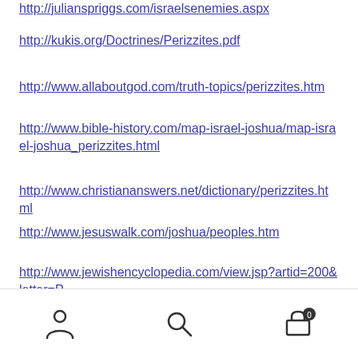http://julianspriggs.com/israelsenemies.aspx
http://kukis.org/Doctrines/Perizzites.pdf
http://www.allaboutgod.com/truth-topics/perizzites.htm
http://www.bible-history.com/map-israel-joshua/map-israel-joshua_perizzites.html
http://www.christiananswers.net/dictionary/perizzites.html
http://www.jesuswalk.com/joshua/peoples.htm
http://www.jewishencyclopedia.com/view.jsp?artid=200&letter=P
http://en.wikipedia.org/wiki/File:A_map_of_Canaan_(834380 7206).jpg
These Articles are Written by the Publishers of The Amazing Bible Timeline with World History. Quickly See Over 6000 Years of Bible and World History Together
[Figure (photo): Partial image of the Amazing Bible Timeline product]
User icon, Search icon, Cart icon with 0 items